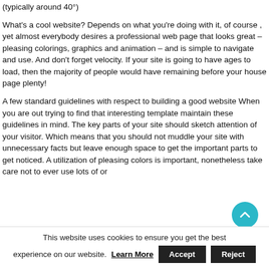(typically around 40°)
What's a cool website? Depends on what you're doing with it, of course , yet almost everybody desires a professional web page that looks great – pleasing colorings, graphics and animation – and is simple to navigate and use. And don't forget velocity. If your site is going to have ages to load, then the majority of people would have remaining before your house page plenty!
A few standard guidelines with respect to building a good website When you are out trying to find that interesting template maintain these guidelines in mind. The key parts of your site should sketch attention of your visitor. Which means that you should not muddle your site with unnecessary facts but leave enough space to get the important parts to get noticed. A utilization of pleasing colors is important, nonetheless take care not to ever use lots of or
This website uses cookies to ensure you get the best experience on our website. Learn More Accept Reject